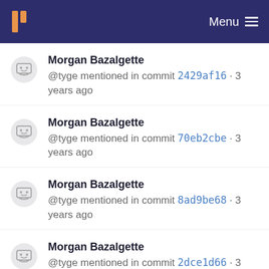Menu
Morgan Bazalgette @tyge mentioned in commit 2429af16 · 3 years ago
Morgan Bazalgette @tyge mentioned in commit 70eb2cbe · 3 years ago
Morgan Bazalgette @tyge mentioned in commit 8ad9be68 · 3 years ago
Morgan Bazalgette @tyge mentioned in commit 2dce1d66 · 3 years ago
Morgan Bazalgette